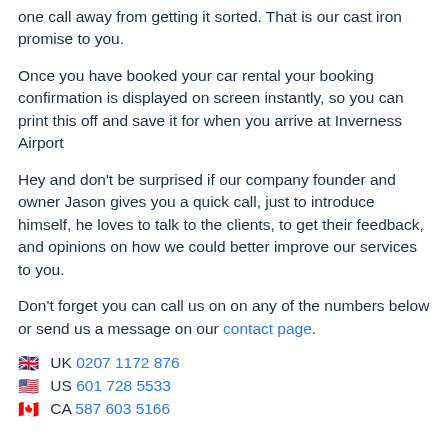one call away from getting it sorted. That is our cast iron promise to you.
Once you have booked your car rental your booking confirmation is displayed on screen instantly, so you can print this off and save it for when you arrive at Inverness Airport
Hey and don't be surprised if our company founder and owner Jason gives you a quick call, just to introduce himself, he loves to talk to the clients, to get their feedback, and opinions on how we could better improve our services to you.
Don't forget you can call us on on any of the numbers below or send us a message on our contact page.
🇬🇧 UK 0207 1172 876
🇺🇸 US 601 728 5533
🇨🇦 CA 587 603 5166